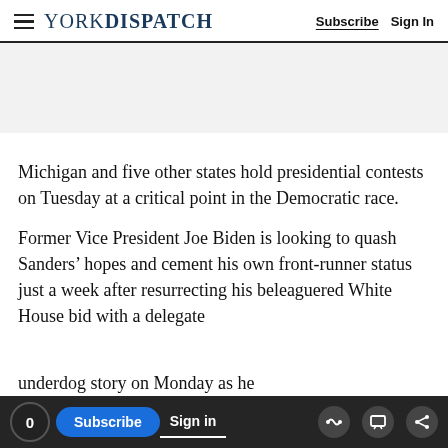YORK DISPATCH | Subscribe  Sign In
Michigan and five other states hold presidential contests on Tuesday at a critical point in the Democratic race.
Former Vice President Joe Biden is looking to quash Sanders’ hopes and cement his own front-runner status just a week after resurrecting his beleaguered White House bid with a delegate
underdog story on Monday as he